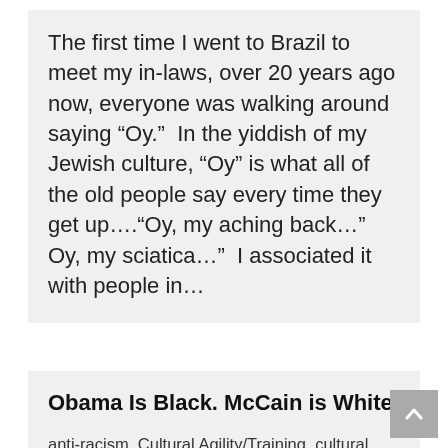The first time I went to Brazil to meet my in-laws, over 20 years ago now, everyone was walking around saying “Oy.”  In the yiddish of my Jewish culture, “Oy” is what all of the old people say every time they get up….“Oy, my aching back…”  Oy, my sciatica…”  I associated it with people in…
Obama Is Black. McCain is White.
anti-racism, Cultural Agility/Training, cultural identity, Election, intercultural communications, Labels, Marketing, Media, Popular Culture, Obama, Prejudice, Unconscious Stereotypes, White privilege
By shoss • October 17, 2008 • 3 Comments